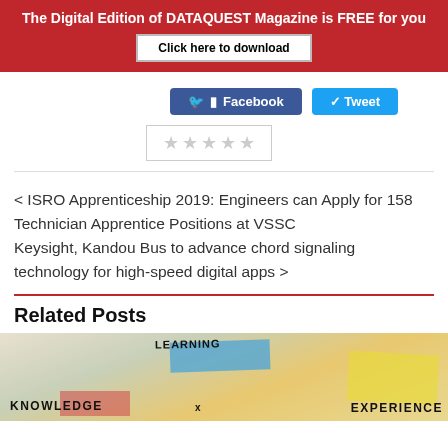The Digital Edition of DATAQUEST Magazine is FREE for you
Click here to download
Facebook  Tweet
[Figure (other): Five empty star rating widget in a bordered box]
< ISRO Apprenticeship 2019: Engineers can Apply for 158 Technician Apprentice Positions at VSSC
Keysight, Kandou Bus to advance chord signaling technology for high-speed digital apps >
Related Posts
[Figure (photo): Photo showing sticky notes with handwritten words: LEARNING, KNOWLEDGE, x, EXPERIENCE on a blurred background]